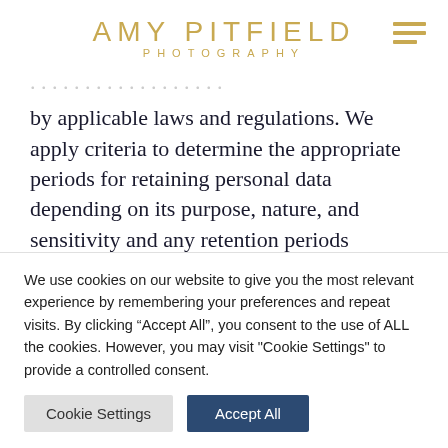AMY PITFIELD PHOTOGRAPHY
by applicable laws and regulations. We apply criteria to determine the appropriate periods for retaining personal data depending on its purpose, nature, and sensitivity and any retention periods provided by applicable laws and regulations. For example, we retain your personal data for 1 year after your photography session and we retain digital files from your session for availability...
We use cookies on our website to give you the most relevant experience by remembering your preferences and repeat visits. By clicking “Accept All”, you consent to the use of ALL the cookies. However, you may visit "Cookie Settings" to provide a controlled consent.